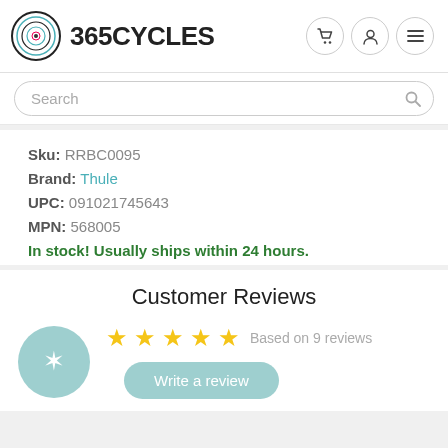[Figure (logo): 365 Cycles logo with circular target-like icon and bold text '365CYCLES']
Search
Sku: RRBC0095
Brand: Thule
UPC: 091021745643
MPN: 568005
In stock! Usually ships within 24 hours.
Customer Reviews
Based on 9 reviews
Write a review